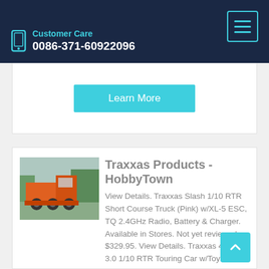Customer Care 0086-371-60922096
Learn More
Traxxas Products - HobbyTown
View Details. Traxxas Slash 1/10 RTR Short Course Truck (Pink) w/XL-5 ESC, TQ 2.4GHz Radio, Battery & Charger. Available in Stores. Not yet reviewed. $329.95. View Details. Traxxas 4-Tec 3.0 1/10 RTR Touring Car w/Toyota GR Supra GT4 Body